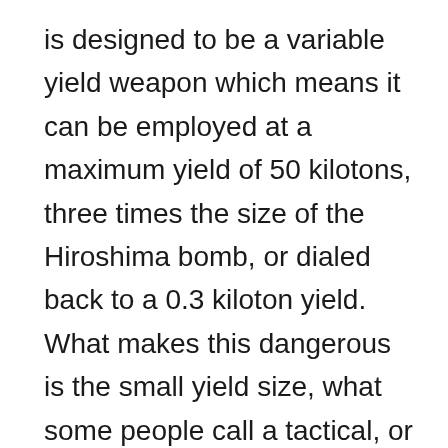is designed to be a variable yield weapon which means it can be employed at a maximum yield of 50 kilotons, three times the size of the Hiroshima bomb, or dialed back to a 0.3 kiloton yield. What makes this dangerous is the small yield size, what some people call a tactical, or battlefield nuclear weapon.³
Imagine a future emergency along the lines of the September 11th attacks, with a president under a great deal of pressure to respond strongly. As a show of force, the